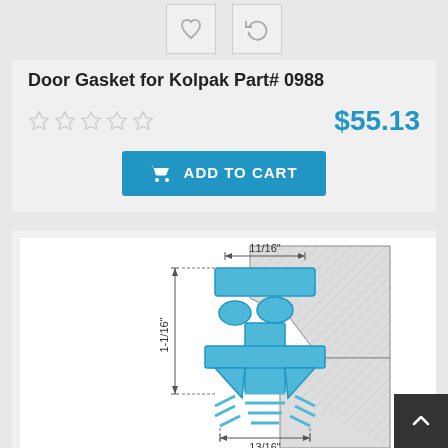Door Gasket for Kolpak Part# 0988
$55.13
ADD TO CART
[Figure (engineering-diagram): Cross-section schematic of a door gasket profile with dimensions: 11/16" width at top, 1-1/16" height on left side, 13/16" width at bottom. The gasket profile is shown in blue with hatched mounting surfaces.]
11/16"
1-1/16"
13/16"